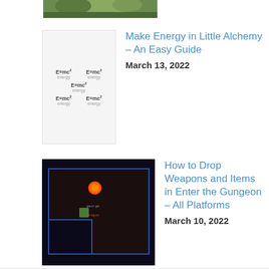[Figure (photo): Cropped top portion of an image showing a green outdoor/nature scene]
[Figure (screenshot): Little Alchemy game screenshot showing multiple E=mc² energy formula tiles on a light grey background]
Make Energy in Little Alchemy – An Easy Guide
March 13, 2022
[Figure (screenshot): Enter the Gungeon game screenshot showing a top-down dungeon view with characters and a fireball]
How to Drop Weapons and Items in Enter the Gungeon – All Platforms
March 10, 2022